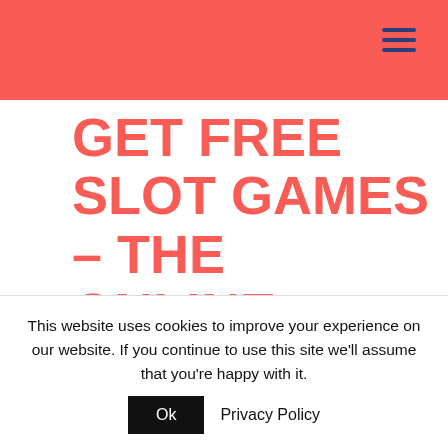GET FREE SLOT GAMES – THE ONLINE CASINOS OF 2020
by | May 26, 2021 | Uncategorized
This website uses cookies to improve your experience on our website. If you continue to use this site we'll assume that you're happy with it. Ok Privacy Policy